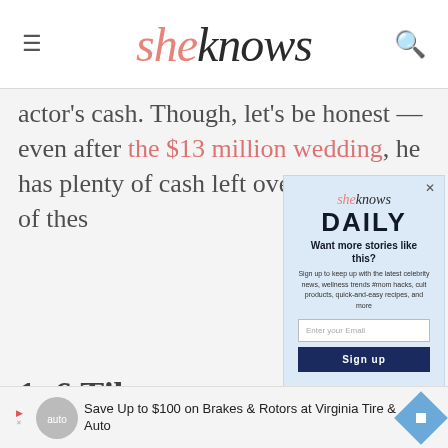sheknows
actor's cash. Though, let's be honest — even after the $13 million wedding, he has plenty of cash left over to buy all of these...
[Figure (screenshot): SheKnows Daily email signup modal popup overlay with logo, 'DAILY' heading, 'Want more stories like this?' text, email input field, and Sign up button]
1. 6 Tibe...
Heralded as th... ney can buy, Tibetan Masti... ng $1.9 million each, meaning George and Amal's wedding bill would only have covered six of the pups, with a little...
Save Up to $100 on Brakes & Rotors at Virginia Tire & Auto